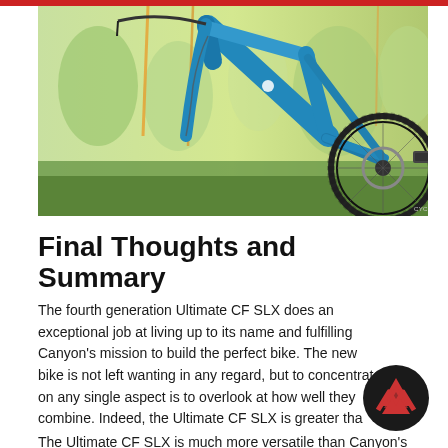[Figure (photo): Close-up photograph of a blue Canyon Ultimate CF SLX road bike frame and rear wheel with disc brake, set against a background of green plants and grass in warm outdoor lighting. CYCLINGTIPS watermark visible in bottom right corner.]
Final Thoughts and Summary
The fourth generation Ultimate CF SLX does an exceptional job at living up to its name and fulfilling Canyon's mission to build the perfect bike. The new bike is not left wanting in any regard, but to concentrate on any single aspect is to overlook at how well they combine. Indeed, the Ultimate CF SLX is greater than the sum of its parts.
The Ultimate CF SLX is much more versatile than Canyon's